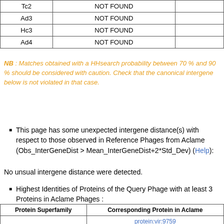|  |  |
| --- | --- |
| Tc2 | NOT FOUND |  |
| Ad3 | NOT FOUND |  |
| Hc3 | NOT FOUND |  |
| Ad4 | NOT FOUND |  |
NB : Matches obtained with a HHsearch probability between 70 % and 90 % should be considered with caution. Check that the canonical intergene below is not violated in that case.
This page has some unexpected intergene distance(s) with respect to those observed in Reference Phages from Aclame (Obs_InterGeneDist > Mean_InterGeneDist+2*Std_Dev) (Help):
No unsual intergene distance were detected.
Highest Identities of Proteins of the Query Phage with at least 3 Proteins in Aclame Phages :
| Protein Superfamily | Corresponding Protein in Aclame |
| --- | --- |
| MCP | protein:vir:9759
protein:vir:9574
protein:vir:94771 |